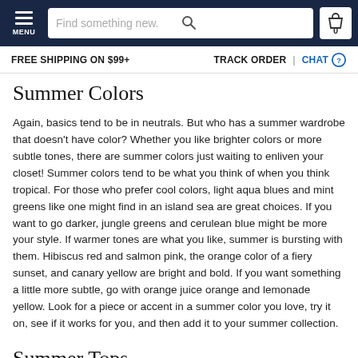MENU | Find something new. | 0
FREE SHIPPING ON $99+ | TRACK ORDER | CHAT
Summer Colors
Again, basics tend to be in neutrals. But who has a summer wardrobe that doesn't have color? Whether you like brighter colors or more subtle tones, there are summer colors just waiting to enliven your closet! Summer colors tend to be what you think of when you think tropical. For those who prefer cool colors, light aqua blues and mint greens like one might find in an island sea are great choices. If you want to go darker, jungle greens and cerulean blue might be more your style. If warmer tones are what you like, summer is bursting with them. Hibiscus red and salmon pink, the orange color of a fiery sunset, and canary yellow are bright and bold. If you want something a little more subtle, go with orange juice orange and lemonade yellow. Look for a piece or accent in a summer color you love, try it on, see if it works for you, and then add it to your summer collection.
Summer Tops